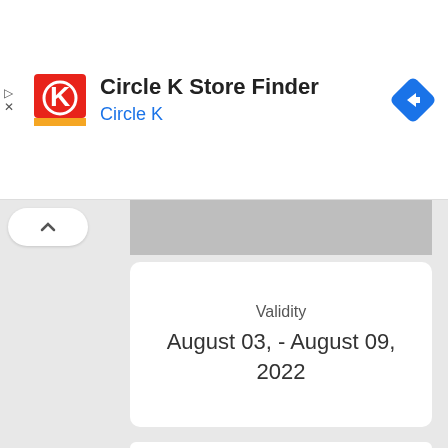[Figure (screenshot): Circle K Store Finder advertisement banner with Circle K logo (red square with K), title text, blue navigation/directions diamond icon]
Validity
August 03, - August 09, 2022
[Figure (screenshot): Big Box Outlet Store promotional banner showing 'MILLION DOLLAR SALE' text in grey/white italic styling]